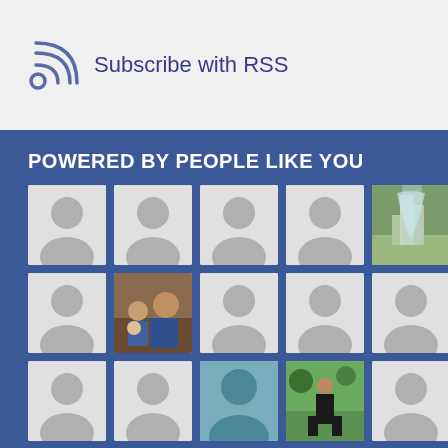[Figure (logo): RSS feed icon with curved signal lines in blue-gray color]
Subscribe with RSS
POWERED BY PEOPLE LIKE YOU
[Figure (photo): Grid of 15 Facebook-style user avatar tiles arranged in 3 rows of 5 columns on a dark blue background. Most are default placeholder silhouette icons on light gray backgrounds. Row 1 col 5: waterfall/nature photo. Row 2 col 2: photo of two people (adult and child). Row 3 col 3: teal/blue silhouette avatar. Row 3 col 4: person standing in a park.]